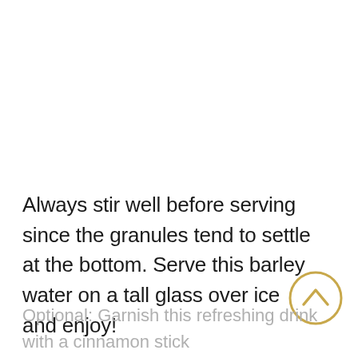Always stir well before serving since the granules tend to settle at the bottom. Serve this barley water on a tall glass over ice and enjoy!
[Figure (other): A circular scroll-to-top button with an upward chevron arrow, outlined in gold/yellow color, positioned at the right side overlapping the text.]
Optional: Garnish this refreshing drink with a cinnamon stick